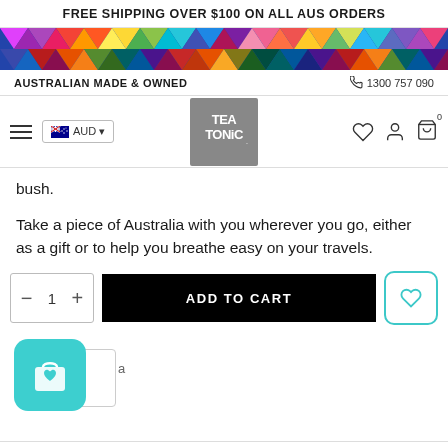FREE SHIPPING OVER $100 ON ALL AUS ORDERS
[Figure (illustration): Colorful geometric diamond pattern rainbow strip banner]
AUSTRALIAN MADE & OWNED    ☎ 1300 757 090
[Figure (logo): Tea Tonic logo - grey square with hand-drawn Tea Tonic text]
bush.
Take a piece of Australia with you wherever you go, either as a gift or to help you breathe easy on your travels.
[Figure (other): Add to cart row with quantity selector showing 1, ADD TO CART black button, and teal heart wishlist button]
[Figure (other): Teal shopping bag with heart icon (sticky wishlist button) with partially visible box behind it]